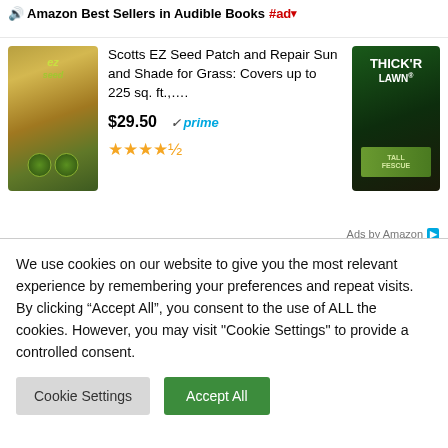Amazon Best Sellers in Audible Books #ad ▼
[Figure (screenshot): Amazon ad banner showing product: Scotts EZ Seed Patch and Repair Sun and Shade for Grass: Covers up to 225 sq. ft., priced at $29.50 with Prime badge and 4.5 star rating. Right side shows partial Thick'R Lawn product image. 'Ads by Amazon' label at bottom right.]
We use cookies on our website to give you the most relevant experience by remembering your preferences and repeat visits. By clicking “Accept All”, you consent to the use of ALL the cookies. However, you may visit "Cookie Settings" to provide a controlled consent.
Cookie Settings
Accept All